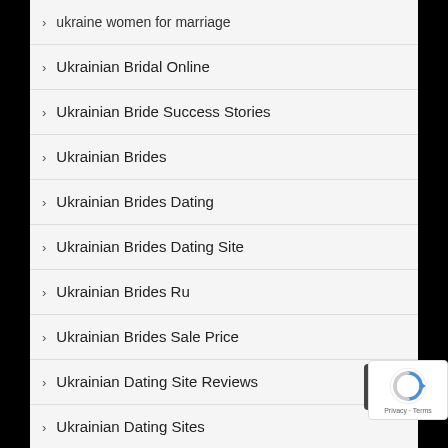ukraine women for marriage
Ukrainian Bridal Online
Ukrainian Bride Success Stories
Ukrainian Brides
Ukrainian Brides Dating
Ukrainian Brides Dating Site
Ukrainian Brides Ru
Ukrainian Brides Sale Price
Ukrainian Dating Site Reviews
Ukrainian Dating Sites